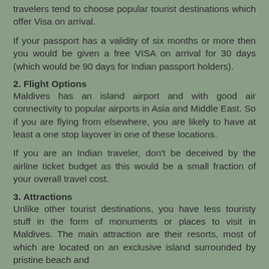travelers tend to choose popular tourist destinations which offer Visa on arrival.
If your passport has a validity of six months or more then you would be given a free VISA on arrival for 30 days (which would be 90 days for Indian passport holders).
2. Flight Options
Maldives has an island airport and with good air connectivity to popular airports in Asia and Middle East. So if you are flying from elsewhere, you are likely to have at least a one stop layover in one of these locations.
If you are an Indian traveler, don’t be deceived by the airline ticket budget as this would be a small fraction of your overall travel cost.
3. Attractions
Unlike other tourist destinations, you have less touristy stuff in the form of monuments or places to visit in Maldives. The main attraction are their resorts, most of which are located on an exclusive island surrounded by pristine beach and